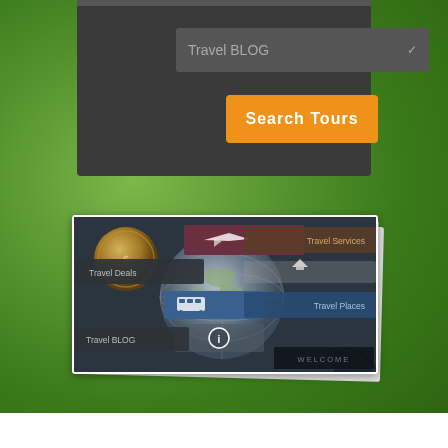[Figure (screenshot): Travel website UI showing a dark dropdown panel with 'Travel BLOG' selected, an orange 'Search Tours' button, and below it a stacked-paper style screenshot of a travel website with globe graphic, menu items (Travel Services, Travel Deals, Travel Places, Travel BLOG), and a WELCOME banner.]